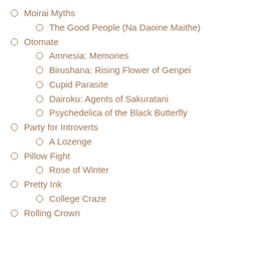Moirai Myths
The Good People (Na Daoine Maithe)
Otomate
Amnesia: Memories
Birushana: Rising Flower of Genpei
Cupid Parasite
Dairoku: Agents of Sakuratani
Psychedelica of the Black Butterfly
Party for Introverts
A Lozenge
Pillow Fight
Rose of Winter
Pretty Ink
College Craze
Rolling Crown